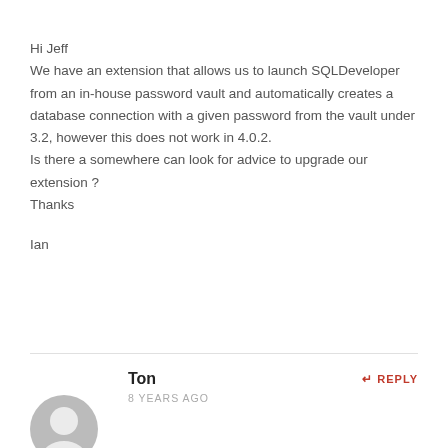Hi Jeff
We have an extension that allows us to launch SQLDeveloper from an in-house password vault and automatically creates a database connection with a given password from the vault under 3.2, however this does not work in 4.0.2.
Is there a somewhere can look for advice to upgrade our extension ?
Thanks

Ian
Ton
REPLY
8 YEARS AGO